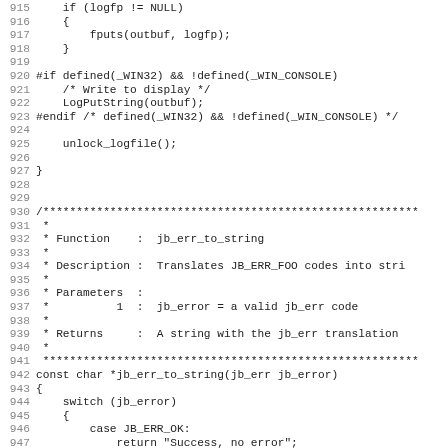Source code listing, lines 915-947, showing C code for log function and jb_err_to_string function documentation and start of implementation.